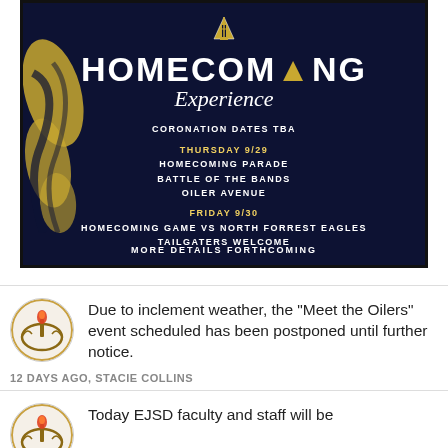[Figure (infographic): Homecoming Experience flyer on dark navy background with gold brush stroke decoration. Text includes: CORONATION DATES TBA, THURSDAY 9/29 HOMECOMING PARADE BATTLE OF THE BANDS OILER AVENUE, FRIDAY 9/30 HOMECOMING GAME VS NORTH FORREST EAGLES TAILGATERS WELCOME, MORE DETAILS FORTHCOMING]
Due to inclement weather, the "Meet the Oilers" event scheduled has been postponed until further notice.
12 DAYS AGO, STACIE COLLINS
Today EJSD faculty and staff will be